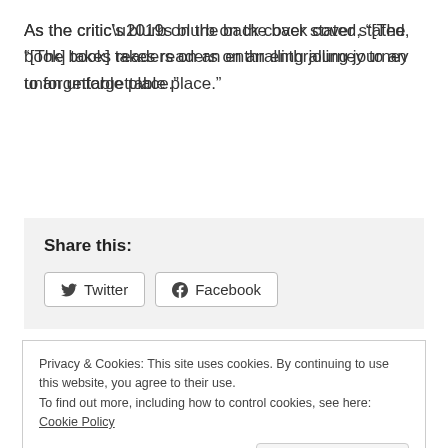As the critic’s blurb on the back cover stated, “[The book] takes readers on an enthralling journey to an unforgettable place.”
Share this:
Twitter  Facebook
Privacy & Cookies: This site uses cookies. By continuing to use this website, you agree to their use.
To find out more, including how to control cookies, see here: Cookie Policy
Close and accept